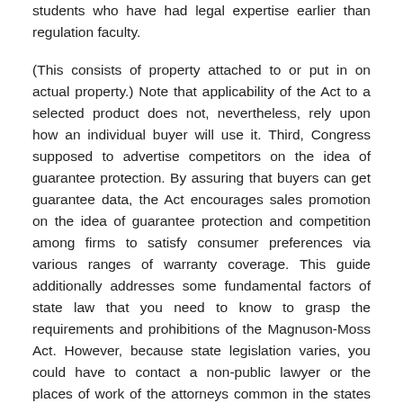students who have had legal expertise earlier than regulation faculty.
(This consists of property attached to or put in on actual property.) Note that applicability of the Act to a selected product does not, nevertheless, rely upon how an individual buyer will use it. Third, Congress supposed to advertise competitors on the idea of guarantee protection. By assuring that buyers can get guarantee data, the Act encourages sales promotion on the idea of guarantee protection and competition among firms to satisfy consumer preferences via various ranges of warranty coverage. This guide additionally addresses some fundamental factors of state law that you need to know to grasp the requirements and prohibitions of the Magnuson-Moss Act. However, because state legislation varies, you could have to contact a non-public lawyer or the places of work of the attorneys common in the states the place you do enterprise to get particular state legislation information. The guide is intended as a software for you to use in session together with your lawyer, not as an